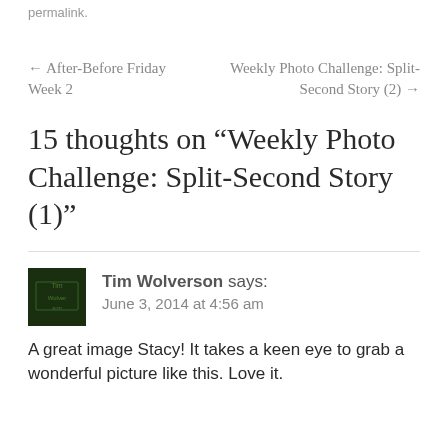permalink.
← After-Before Friday Week 2
Weekly Photo Challenge: Split-Second Story (2) →
15 thoughts on “Weekly Photo Challenge: Split-Second Story (1)”
Tim Wolverson says:
June 3, 2014 at 4:56 am
A great image Stacy! It takes a keen eye to grab a wonderful picture like this. Love it.